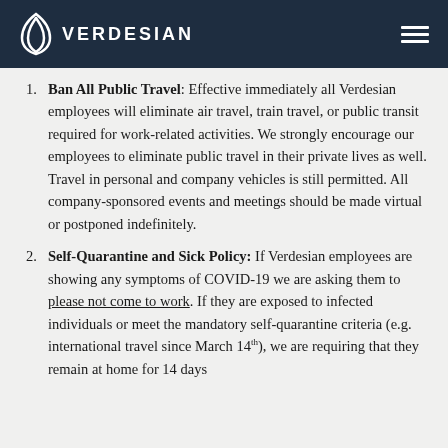VERDESIAN
Ban All Public Travel: Effective immediately all Verdesian employees will eliminate air travel, train travel, or public transit required for work-related activities. We strongly encourage our employees to eliminate public travel in their private lives as well. Travel in personal and company vehicles is still permitted. All company-sponsored events and meetings should be made virtual or postponed indefinitely.
Self-Quarantine and Sick Policy: If Verdesian employees are showing any symptoms of COVID-19 we are asking them to please not come to work. If they are exposed to infected individuals or meet the mandatory self-quarantine criteria (e.g. international travel since March 14th), we are requiring that they remain at home for 14 days.